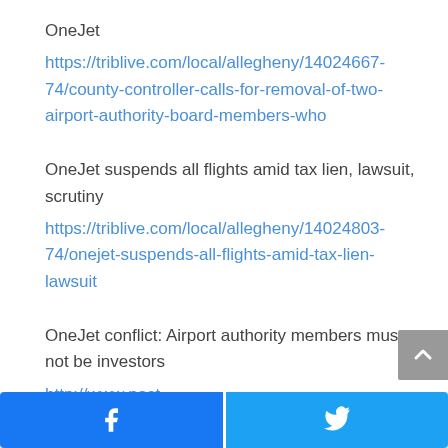OneJet
https://triblive.com/local/allegheny/14024667-74/county-controller-calls-for-removal-of-two-airport-authority-board-members-who
OneJet suspends all flights amid tax lien, lawsuit, scrutiny
https://triblive.com/local/allegheny/14024803-74/onejet-suspends-all-flights-amid-tax-lien-lawsuit
OneJet conflict: Airport authority members must not be investors
http://www.post-